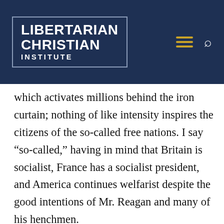[Figure (logo): Libertarian Christian Institute logo on dark navy blue header bar with hamburger menu icon in gold and a search icon in white]
which activates millions behind the iron curtain; nothing of like intensity inspires the citizens of the so-called free nations. I say “so-called,” having in mind that Britain is socialist, France has a socialist president, and America continues welfarist despite the good intentions of Mr. Reagan and many of his henchmen.